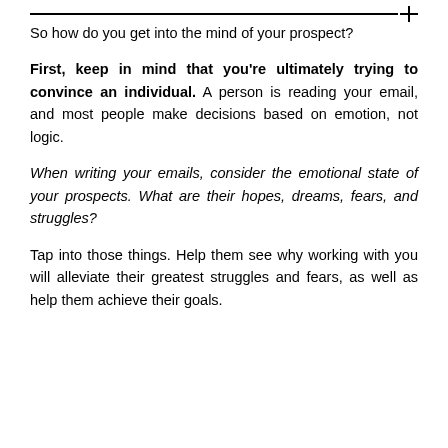So how do you get into the mind of your prospect?
First, keep in mind that you're ultimately trying to convince an individual. A person is reading your email, and most people make decisions based on emotion, not logic.
When writing your emails, consider the emotional state of your prospects. What are their hopes, dreams, fears, and struggles?
Tap into those things. Help them see why working with you will alleviate their greatest struggles and fears, as well as help them achieve their goals.